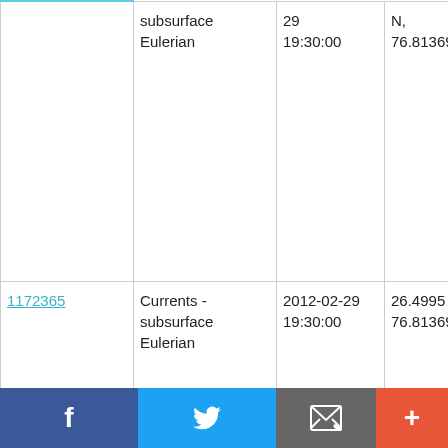| ID | Type | Date/Time | Location | Platform |
| --- | --- | --- | --- | --- |
|  | Currents - subsurface Eulerian | 2012-02-29 19:30:00 | N, 76.81369 W | NOAA Ship Ronald H. Brown RB1201 |
| 1172365 | Currents - subsurface Eulerian | 2012-02-29 19:30:00 | 26.4995 N, 76.81369 W | NOAA Ship Ronald H. Brown RB1201 |
| 1172377 | Currents - subsurface Eulerian | 2012-02-29 19:30:00 | 26.4995 N, 76.81369 W | NOAA Ship Ronald H. Brown RB1201 |
f  Twitter  Email  +